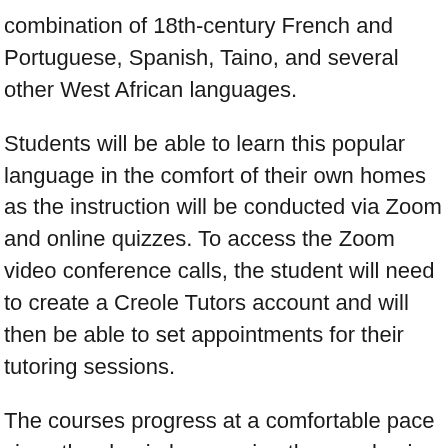combination of 18th-century French and Portuguese, Spanish, Taino, and several other West African languages.
Students will be able to learn this popular language in the comfort of their own homes as the instruction will be conducted via Zoom and online quizzes. To access the Zoom video conference calls, the student will need to create a Creole Tutors account and will then be able to set appointments for their tutoring sessions.
The courses progress at a comfortable pace since they begin by covering the very basics and slowly move toward advanced tips. With the information and guidance provided, students have all the resources